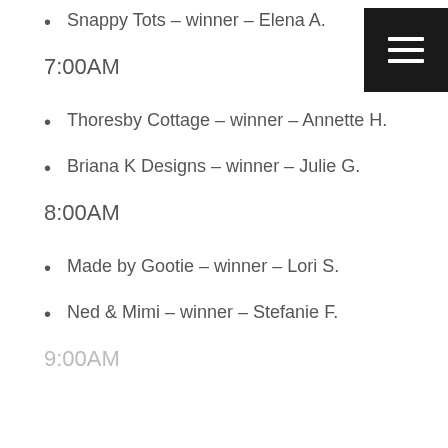Snappy Tots – winner – Elena A.
7:00AM
Thoresby Cottage – winner – Annette H.
Briana K Designs – winner – Julie G.
8:00AM
Made by Gootie – winner – Lori S.
Ned & Mimi – winner – Stefanie F.
9:00AM